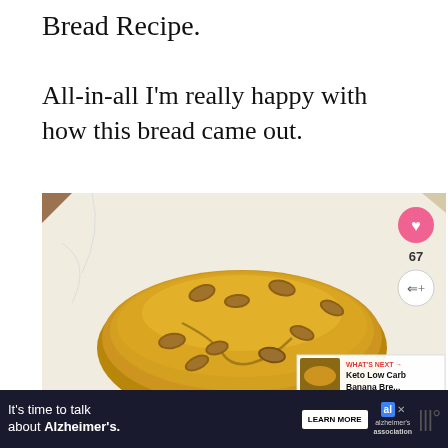Bread Recipe.
All-in-all I'm really happy with how this bread came out.
[Figure (photo): A golden-brown loaf of bread dotted with pecans, resting on white parchment paper over a wooden surface. A heart/like button showing 67 and a share button are overlaid on the right edge. A 'What's Next' thumbnail for 'Keto Low Carb Banana Bre...' appears in the bottom-right corner.]
It's time to talk about Alzheimer's. LEARN MORE